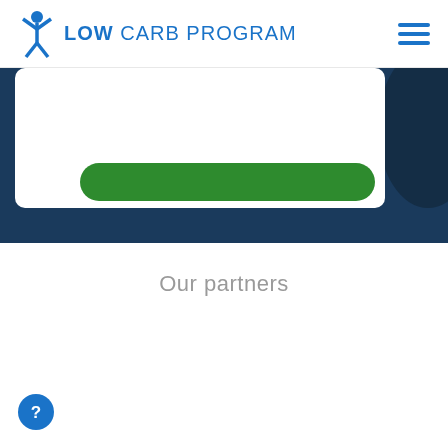LOW CARB PROGRAM
[Figure (screenshot): Screenshot of Low Carb Program website showing a white card with a green button on a dark navy blue background banner section]
Our partners
[Figure (other): Blue circular help/support button with question mark icon at bottom left of page]